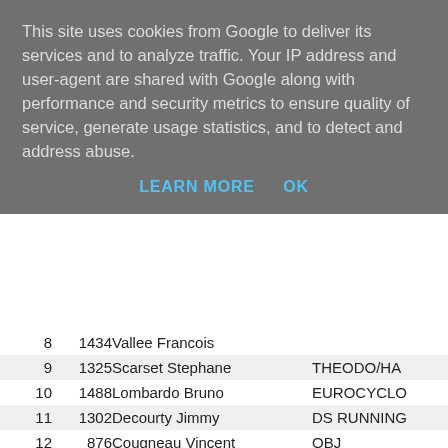This site uses cookies from Google to deliver its services and to analyze traffic. Your IP address and user-agent are shared with Google along with performance and security metrics to ensure quality of service, generate usage statistics, and to detect and address abuse.
LEARN MORE    OK
| # | Bib | Name | Team |
| --- | --- | --- | --- |
| 8 | 1434 | Vallee Francois |  |
| 9 | 1325 | Scarset Stephane | THEODO/HA |
| 10 | 1488 | Lombardo Bruno | EUROCYCLO |
| 11 | 1302 | Decourty Jimmy | DS RUNNING |
| 12 | 876 | Cougneau  Vincent | OBJ |
| 13 | 1448 | Delsine Eddy | OBJ |
| 14 | 862 | Gobert Yannick | FER/DS |
| 15 | 806 | Saidia Fathi | MAUBEUGE |
| 16 | 882 | Delcroix Jerome | MAUBEUGE |
| 17 | 1272 | Kherba Abdellah |  |
| 18 | 832 | Mahieu José | OBJ |
| 19 | 884 | Denghien Laurent | OBJ |
| 20 | 1362 | Sohnle Erich | TORTUES MI |
| 21 | 830 | Mastia Lucien | MAUBEUGE |
| 22 | 1260 | Pierard Jeremy |  |
| 23 | 1265 | Defrise Gregory |  |
| 24 | 1473 | Devane Mary | PRIS PAR LA |